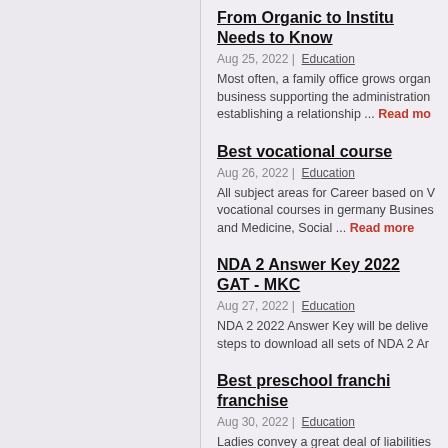From Organic to Institu... Needs to Know
Aug 25, 2022 | Education
Most often, a family office grows organ... business supporting the administration... establishing a relationship ... Read more
Best vocational course...
Aug 26, 2022 | Education
All subject areas for Career based on V... vocational courses in germany Busines... and Medicine, Social ... Read more
NDA 2 Answer Key 2022... GAT - MKC
Aug 27, 2022 | Education
NDA 2 2022 Answer Key will be delive... steps to download all sets of NDA 2 Ar...
Best preschool franchi... franchise
Aug 30, 2022 | Education
Ladies convey a great deal of liabilities... turns into a justification for them to sta... obligations which ... Read more